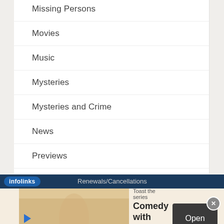Missing Persons
Movies
Music
Mysteries
Mysteries and Crime
News
Previews
Recaps
Sammi's Favorite Things
Renewals/Cancellations
[Figure (screenshot): Advertisement for 'Avocado Toast the series' — Comedy with heart and a cult, with Open button]